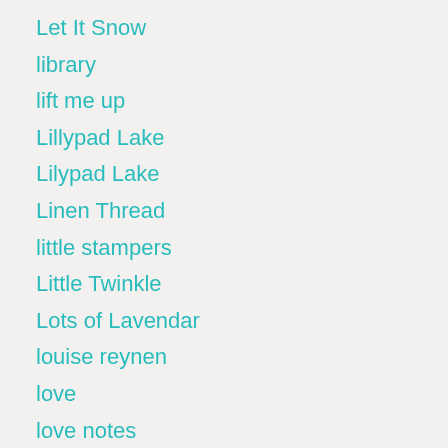Let It Snow
library
lift me up
Lillypad Lake
Lilypad Lake
Linen Thread
little stampers
Little Twinkle
Lots of Lavendar
louise reynen
love
love notes
lovely as a tree
lovely flowers